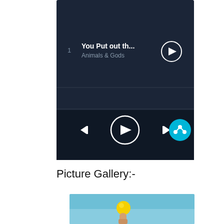[Figure (screenshot): Mobile music player app screenshot showing a playlist with 3 tracks (You Put out th... - Animals & Gods, Figurines - Animals & Gods, Animals & Gods - Animals & Gods), each with a play button. Below is a playback controls bar with previous, play, next buttons and a cyan share button.]
Picture Gallery:-
[Figure (photo): Partial photo showing a hand (finger) holding or touching a yellow lemon/ball against a light blue/teal background.]